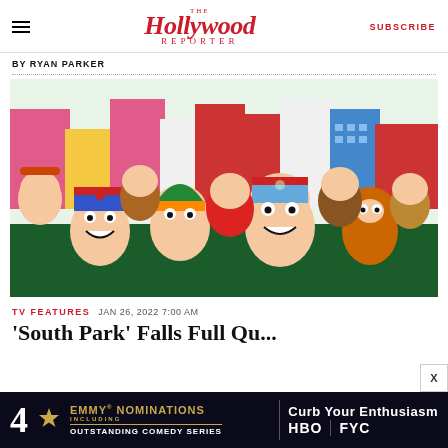The Hollywood Reporter | SUBSCRIBE
BY RYAN PARKER
[Figure (illustration): South Park animated characters group shot — Stan, Kyle, Cartman, Kenny and other animated children in front of colorful buildings]
TV FEATURES  JAN 26, 2022 7:00 AM
'South Park' Falls...
[Figure (infographic): Ad banner: 4 Emmy Nominations including Outstanding Comedy Series — Curb Your Enthusiasm — HBO FYC]